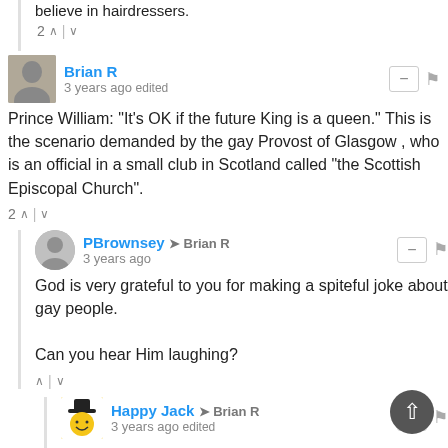believe in hairdressers.
2 ∧ | ∨
Brian R · 3 years ago edited
Prince William: "It's OK if the future King is a queen." This is the scenario demanded by the gay Provost of Glasgow , who is an official in a small club in Scotland called "the Scottish Episcopal Church".
2 ∧ | ∨
PBrownsey → Brian R · 3 years ago
God is very grateful to you for making a spiteful joke about gay people.

Can you hear Him laughing?
∧ | ∨
Happy Jack → Brian R · 3 years ago edited
Wasn't he just iterating the majority stance of the church he will soon nominally govern?